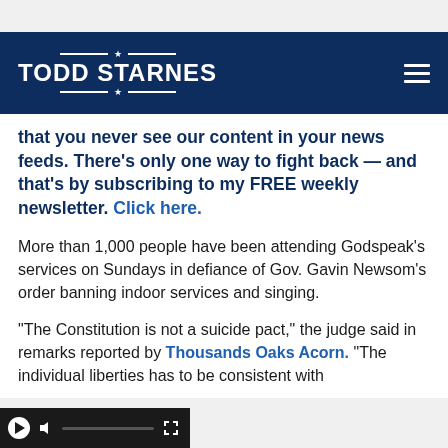TODD STARNES
that you never see our content in your news feeds. There's only one way to fight back — and that's by subscribing to my FREE weekly newsletter. Click here.
More than 1,000 people have been attending Godspeak's services on Sundays in defiance of Gov. Gavin Newsom's order banning indoor services and singing.
"The Constitution is not a suicide pact," the judge said in remarks reported by Thousands Oaks Acorn. "The individual liberties has to be consistent with